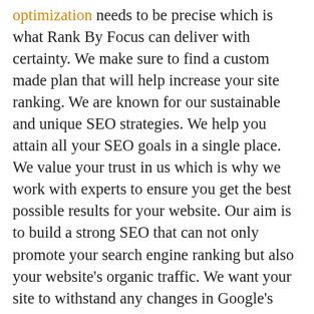optimization needs to be precise which is what Rank By Focus can deliver with certainty. We make sure to find a custom made plan that will help increase your site ranking. We are known for our sustainable and unique SEO strategies. We help you attain all your SEO goals in a single place. We value your trust in us which is why we work with experts to ensure you get the best possible results for your website. Our aim is to build a strong SEO that can not only promote your search engine ranking but also your website's organic traffic. We want your site to withstand any changes in Google's algorithms which is why we try to use our observation and experience to plan ahead. We never disregard any factors that can potentially risk your site ranking so we carefully analyze every detail of your web page. Bringing only the finest quality work to assist you in any difficulties you may